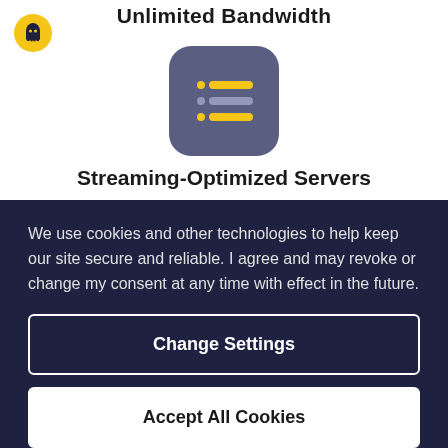Unlimited Bandwidth
[Figure (logo): CyberGhost VPN ghost mascot logo in a yellow circle]
[Figure (illustration): Streaming-optimized servers icon: a dark blue-grey rounded square with three horizontal menu lines, each with a yellow accent bar]
Streaming-Optimized Servers
We use cookies and other technologies to help keep our site secure and reliable. I agree and may revoke or change my consent at any time with effect in the future.
Change Settings
Accept All Cookies